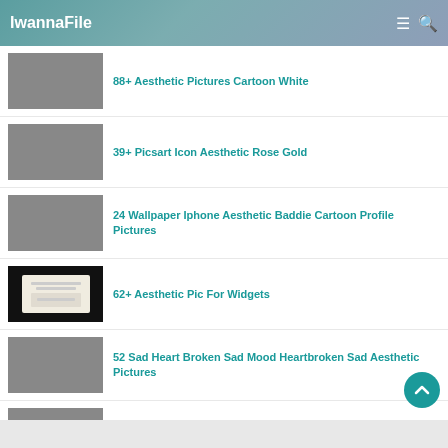IwannaFile
88+ Aesthetic Pictures Cartoon White
39+ Picsart Icon Aesthetic Rose Gold
24 Wallpaper Iphone Aesthetic Baddie Cartoon Profile Pictures
62+ Aesthetic Pic For Widgets
52 Sad Heart Broken Sad Mood Heartbroken Sad Aesthetic Pictures
43 Cute Cartoon Profile Pics Aesthetic Cartoon Characters